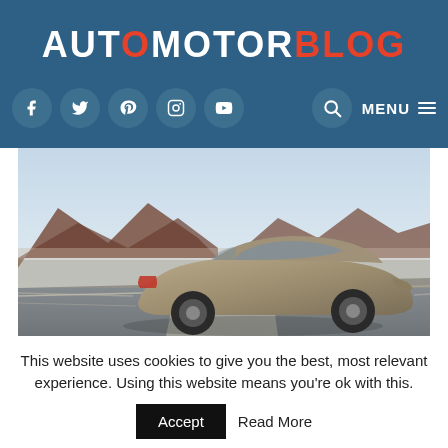AUTOMOTORBLOG
[Figure (photo): SUV car driving on a road with desert mountain landscape in the background]
This website uses cookies to give you the best, most relevant experience. Using this website means you're ok with this.
Accept  Read More